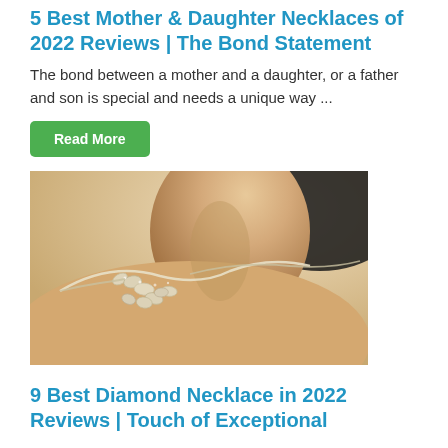5 Best Mother & Daughter Necklaces of 2022 Reviews | The Bond Statement
The bond between a mother and a daughter, or a father and son is special and needs a unique way ...
Read More
[Figure (photo): Close-up photo of a woman wearing a diamond necklace with floral/leaf motifs on her neck and shoulder]
9 Best Diamond Necklace in 2022 Reviews | Touch of Exceptional